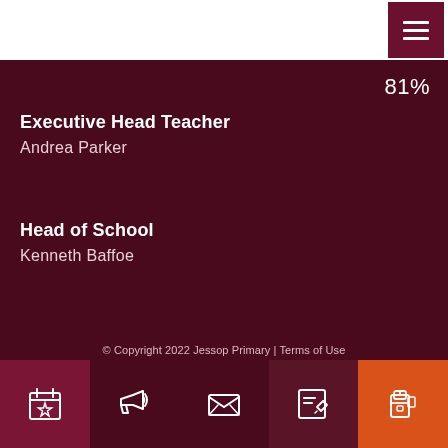[Figure (screenshot): Navigation hamburger menu button in dark red/maroon color with three white horizontal lines]
81%
Executive Head Teacher
Andrea Parker
Head of School
Kenneth Baffoe
© Copyright 2022 Jessop Primary | Terms of Use
[Figure (infographic): Bottom navigation bar with 5 icon buttons: calendar/star icon on dark red background, megaphone/announcement icon, envelope/mail icon, edit/pencil icon, and backpack/school bag icon on orange background]